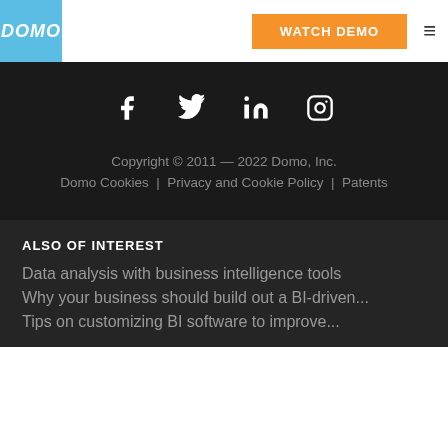DOMO | WATCH DEMO
[Figure (other): Social media icons: Facebook, Twitter, LinkedIn, Instagram]
Copyright © 2011 — 2022 Domo, Inc.
Domo Cookies | Privacy and Cookie Policy | Patents
ALSO OF INTEREST
Data analysis with business intelligence tools
Why your business should build out a BI-driven...
Tips on customizing BI software to improve...